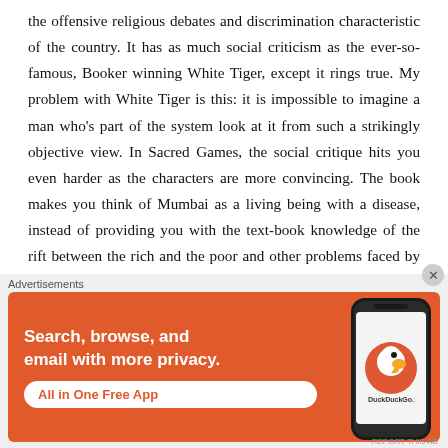the offensive religious debates and discrimination characteristic of the country. It has as much social criticism as the ever-so-famous, Booker winning White Tiger, except it rings true. My problem with White Tiger is this: it is impossible to imagine a man who's part of the system look at it from such a strikingly objective view. In Sacred Games, the social critique hits you even harder as the characters are more convincing. The book makes you think of Mumbai as a living being with a disease, instead of providing you with the text-book knowledge of the rift between the rich and the poor and other problems faced by the country.
It is a good picture of India, for whoever's interested. Not only because it shows the evil, the kind that can make you
[Figure (other): DuckDuckGo advertisement banner with orange background. Text reads 'Search, browse, and email with more privacy. All in One Free App' with a phone mockup and DuckDuckGo logo.]